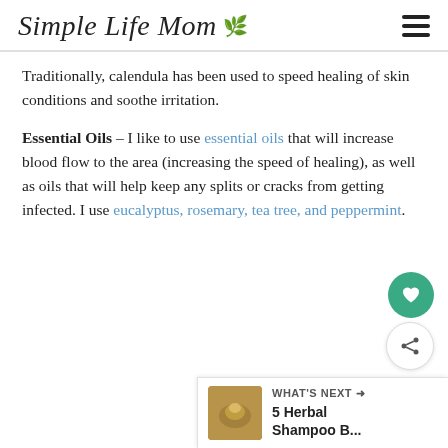Simple Life Mom
Traditionally, calendula has been used to speed healing of skin conditions and soothe irritation.
Essential Oils – I like to use essential oils that will increase blood flow to the area (increasing the speed of healing), as well as oils that will help keep any splits or cracks from getting infected. I use eucalyptus, rosemary, tea tree, and peppermint.
[Figure (other): What's Next panel showing a thumbnail image, label 'WHAT'S NEXT →' and text '5 Herbal Shampoo B...']